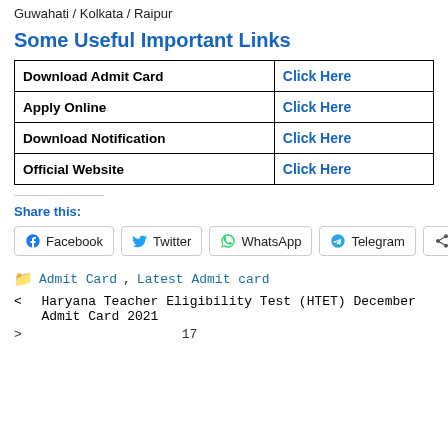Guwahati / Kolkata / Raipur
Some Useful Important Links
|  |  |
| --- | --- |
| Download Admit Card | Click Here |
| Apply Online | Click Here |
| Download Notification | Click Here |
| Official Website | Click Here |
Share this:
Facebook  Twitter  WhatsApp  Telegram  More
Admit Card, Latest Admit card
< Haryana Teacher Eligibility Test (HTET) December Admit Card 2021
>  17